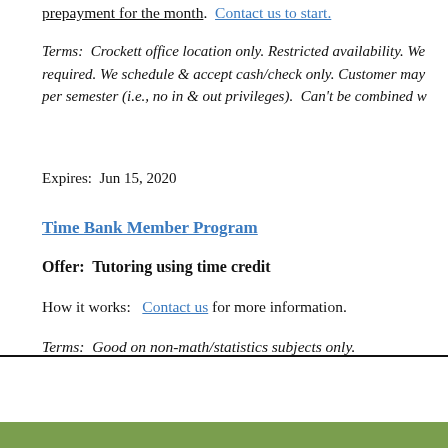prepayment for the month. Contact us to start.
Terms:  Crockett office location only. Restricted availability. We required. We schedule & accept cash/check only. Customer may per semester (i.e., no in & out privileges).  Can't be combined w
Expires:  Jun 15, 2020
Time Bank Member Program
Offer:  Tutoring using time credit
How it works:  Contact us for more information.
Terms:  Good on non-math/statistics subjects only.
Specials are subject to change.
My Neighborhood Tutor